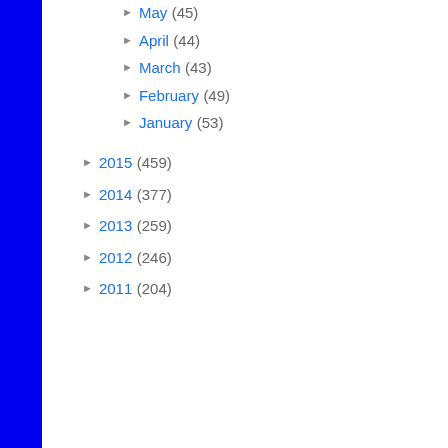May (45)
April (44)
March (43)
February (49)
January (53)
2015 (459)
2014 (377)
2013 (259)
2012 (246)
2011 (204)